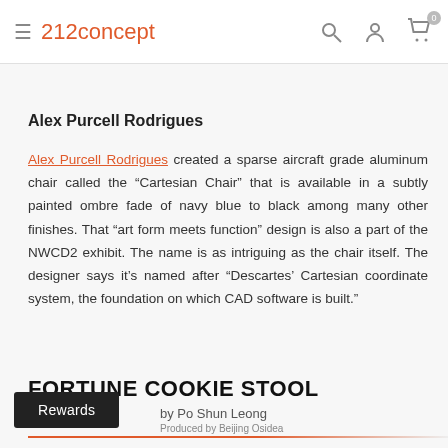212concept
Alex Purcell Rodrigues
Alex Purcell Rodrigues created a sparse aircraft grade aluminum chair called the “Cartesian Chair” that is available in a subtly painted ombre fade of navy blue to black among many other finishes. That “art form meets function” design is also a part of the NWCD2 exhibit. The name is as intriguing as the chair itself. The designer says it’s named after “Descartes’ Cartesian coordinate system, the foundation on which CAD software is built.”
FORTUNE COOKIE STOOL
by Po Shun Leong
Produced by Beijing Osidea